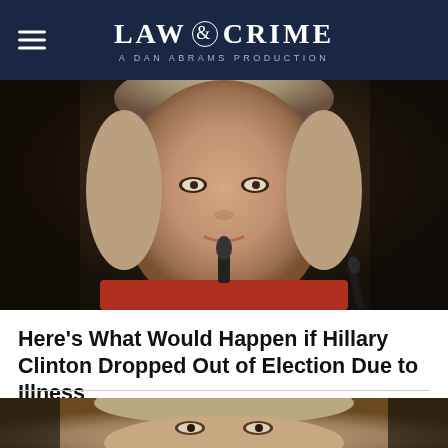LAW & CRIME — A DAN ABRAMS PRODUCTION
[Figure (photo): Close-up photo of Hillary Clinton at a podium with a microphone, wearing a red jacket, looking forward with a serious expression]
Here's What Would Happen if Hillary Clinton Dropped Out of Election Due to Illness
[Figure (photo): Another close-up photo of Hillary Clinton, partially visible, similar setting]